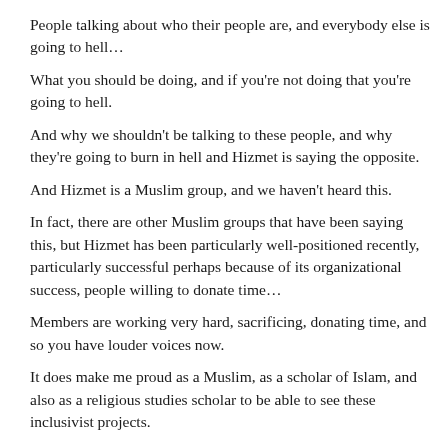People talking about who their people are, and everybody else is going to hell…
What you should be doing, and if you're not doing that you're going to hell.
And why we shouldn't be talking to these people, and why they're going to burn in hell and Hizmet is saying the opposite.
And Hizmet is a Muslim group, and we haven't heard this.
In fact, there are other Muslim groups that have been saying this, but Hizmet has been particularly well-positioned recently, particularly successful perhaps because of its organizational success, people willing to donate time…
Members are working very hard, sacrificing, donating time, and so you have louder voices now.
It does make me proud as a Muslim, as a scholar of Islam, and also as a religious studies scholar to be able to see these inclusivist projects.
Hizmet Movement is unique because it doesn't try to carry out what we call cultural and religious particularism. That would be the idea that your group is the best, that you have the only form of truth, that all other groups are impure, incorrect and that they are not worthy of time, or that they're not worthy of learning something from them.